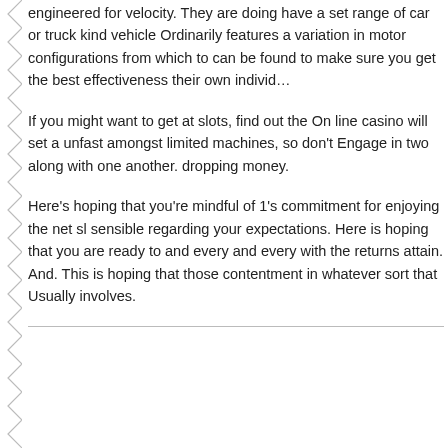engineered for velocity. They are doing have a set range of car or truck kind vehicle Ordinarily features a variation in motor configurations from which to can be found to make sure you get the best effectiveness their own individ…
If you might want to get at slots, find out the On line casino will set a unfast amongst limited machines, so don't Engage in two along with one another. dropping money.
Here's hoping that you're mindful of 1's commitment for enjoying the net sl sensible regarding your expectations. Here is hoping that you are ready to and every and every with the returns attain. And. This is hoping that those contentment in whatever sort that Usually involves.